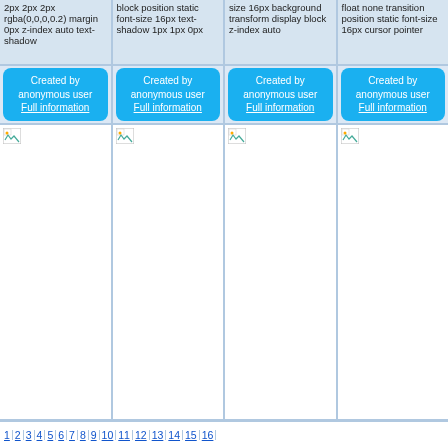2px 2px 2px rgba(0,0,0,0.2) margin 0px z-index auto text-shadow
block position static font-size 16px text-shadow 1px 1px 0px
size 16px background transform display block z-index auto
float none transition position static font-size 16px cursor pointer
Created by anonymous user
Full information
Created by anonymous user
Full information
Created by anonymous user
Full information
Created by anonymous user
Full information
[Figure (photo): Broken image placeholder in white cell, column 1]
[Figure (photo): Broken image placeholder in white cell, column 2]
[Figure (photo): Broken image placeholder in white cell, column 3]
[Figure (photo): Broken image placeholder in white cell, column 4]
1 | 2 | 3 | 4 | 5 | 6 | 7 | 8 | 9 | 10 | 11 | 12 | 13 | 14 | 15 | 16